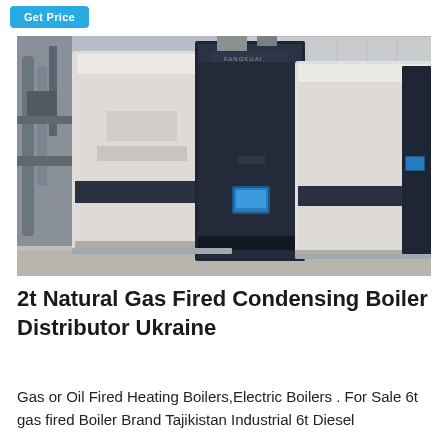[Figure (other): Get Price button — teal/cyan rounded rectangle button in top-left corner]
[Figure (photo): Industrial condensing boilers installation — multiple large white and dark navy vertical boiler units (FANGKUAI brand) arranged in a boiler room with pipes and equipment visible in background]
2t Natural Gas Fired Condensing Boiler Distributor Ukraine
Gas or Oil Fired Heating Boilers,Electric Boilers . For Sale 6t gas fired Boiler Brand Tajikistan Industrial 6t Diesel